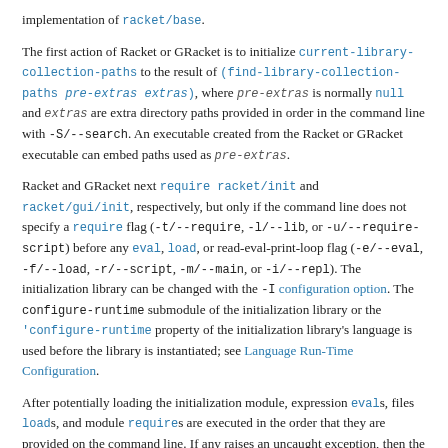implementation of racket/base.
The first action of Racket or GRacket is to initialize current-library-collection-paths to the result of (find-library-collection-paths pre-extras extras), where pre-extras is normally null and extras are extra directory paths provided in order in the command line with -S/--search. An executable created from the Racket or GRacket executable can embed paths used as pre-extras.
Racket and GRacket next require racket/init and racket/gui/init, respectively, but only if the command line does not specify a require flag (-t/--require, -l/--lib, or -u/--require-script) before any eval, load, or read-eval-print-loop flag (-e/--eval, -f/--load, -r/--script, -m/--main, or -i/--repl). The initialization library can be changed with the -I configuration option. The configure-runtime submodule of the initialization library or the 'configure-runtime property of the initialization library's language is used before the library is instantiated; see Language Run-Time Configuration.
After potentially loading the initialization module, expression evals, files loads, and module requires are executed in the order that they are provided on the command line. If any raises an uncaught exception, then the remaining evals, loads, and requires are skipped. If the first require precedes any eval or load so that the initialization library is skipped, then the configure-runtime submodule of the required module or the 'configure-runtime property of the required module's library language is used before the module is instantiated; see Language Run-Time Configuration.
After running all command-line expressions, files, and modules, Racket or